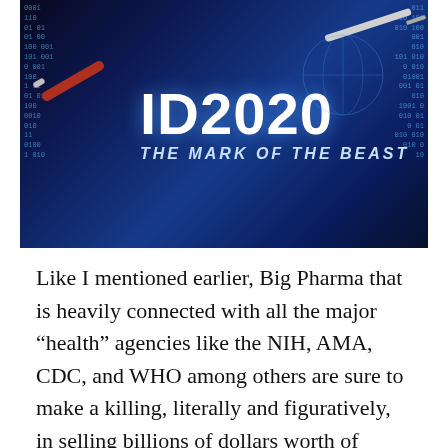[Figure (illustration): ID2020 conspiracy image with text 'ID2020 THE MARK OF THE BEAST' overlaid on a dark blue digital background with binary code numbers, syringes/needles, and circuit-like globe graphics]
Like I mentioned earlier, Big Pharma that is heavily connected with all the major “health” agencies like the NIH, AMA, CDC, and WHO among others are sure to make a killing, literally and figuratively, in selling billions of dollars worth of government-subsidized vaccines and
Privacy & Cookies: This site uses cookies. By continuing to use this website, you agree to their use.
To find out more, including how to control cookies, see here: Cookie Policy
[Close and accept button]
supplements, Vitamin C, Olive Leaf Extract, Zinc Lozenges...